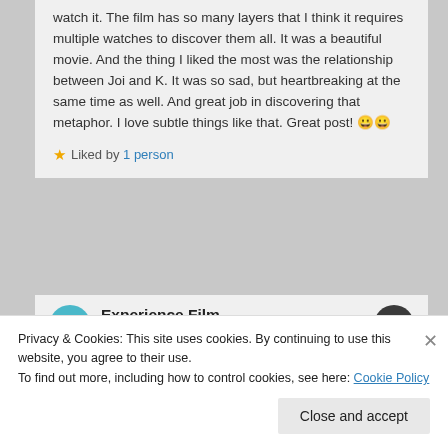watch it. The film has so many layers that I think it requires multiple watches to discover them all. It was a beautiful movie. And the thing I liked the most was the relationship between Joi and K. It was so sad, but heartbreaking at the same time as well. And great job in discovering that metaphor. I love subtle things like that. Great post! 😀😀
★ Liked by 1 person
Experience Film
October 22, 2017 at 8:08 am
Privacy & Cookies: This site uses cookies. By continuing to use this website, you agree to their use.
To find out more, including how to control cookies, see here: Cookie Policy
Close and accept